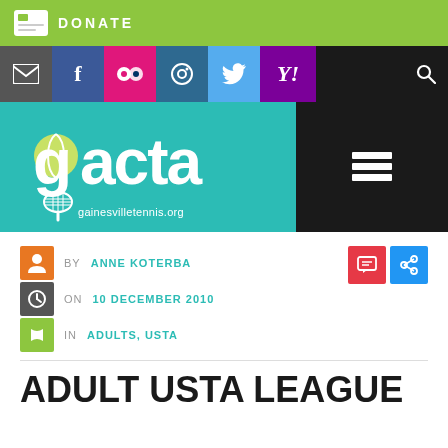DONATE
[Figure (screenshot): Social media icon bar with email, Facebook, Flickr, Instagram, Twitter, Yahoo icons]
[Figure (logo): GACTA gainesvilletennis.org logo on teal background with hamburger menu icon]
BY ANNE KOTERBA
ON 10 DECEMBER 2010
IN ADULTS, USTA
ADULT USTA LEAGUE